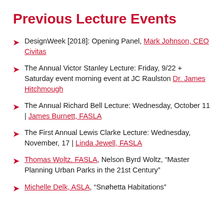Previous Lecture Events
DesignWeek [2018]: Opening Panel, Mark Johnson, CEO Civitas
The Annual Victor Stanley Lecture: Friday, 9/22 + Saturday event morning event at JC Raulston Dr. James Hitchmough
The Annual Richard Bell Lecture: Wednesday, October 11 | James Burnett, FASLA
The First Annual Lewis Clarke Lecture: Wednesday, November, 17 | Linda Jewell, FASLA
Thomas Woltz, FASLA, Nelson Byrd Woltz, “Master Planning Urban Parks in the 21st Century”
Michelle Delk, ASLA, “Snøhetta Habitations”